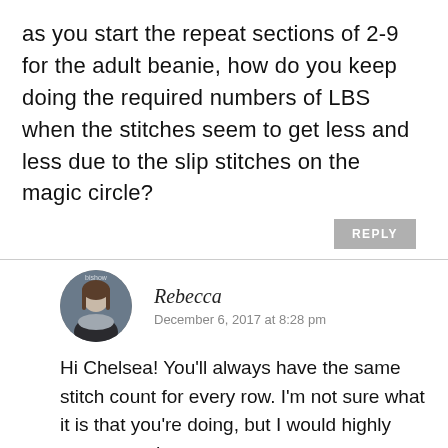as you start the repeat sections of 2-9 for the adult beanie, how do you keep doing the required numbers of LBS when the stitches seem to get less and less due to the slip stitches on the magic circle?
REPLY
Rebecca
December 6, 2017 at 8:28 pm
Hi Chelsea! You'll always have the same stitch count for every row. I'm not sure what it is that you're doing, but I would highly recommend you watch the tutorial video in the post above to find out where you might be going wrong.